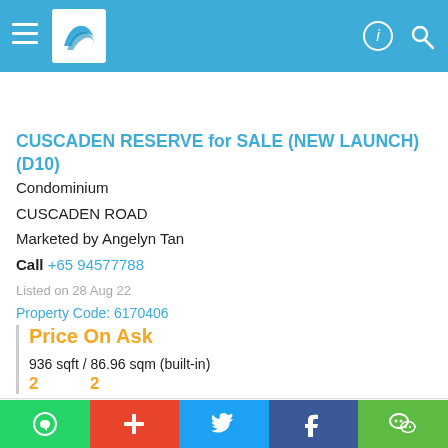Navigation bar with hamburger menu, logo, and search/contact icons
CUSCADEN RESERVE for SALE (NEW LAUNCH) (D10)
Condominium
CUSCADEN ROAD
Marketed by Angelyn Tan
Call +65 94577788
Listed on 28 Aug 22
Property Code: 6170406
Price On Ask
936 sqft / 86.96 sqm (built-in)
2  2
Shortlist  Call  Whatsapp
Premium Listing
WhatsApp  +  Twitter  Facebook  WeChat